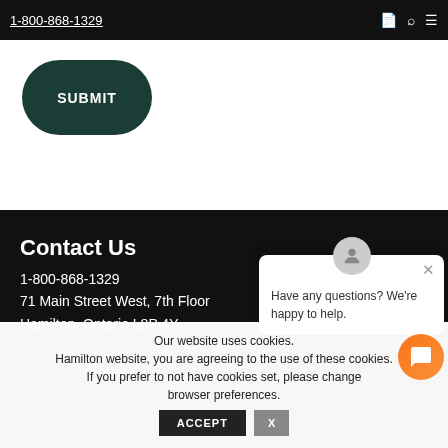1-800-868-1329
SUBMIT
Contact Us
1-800-868-1329
71 Main Street West, 7th Floor
Hamilton, Ontario L8P 4Y
Have any questions? We're happy to help.
Our website uses cookies. Hamilton website, you are agreeing to the use of these cookies. If you prefer to not have cookies set, please change browser preferences.
ACCEPT
X